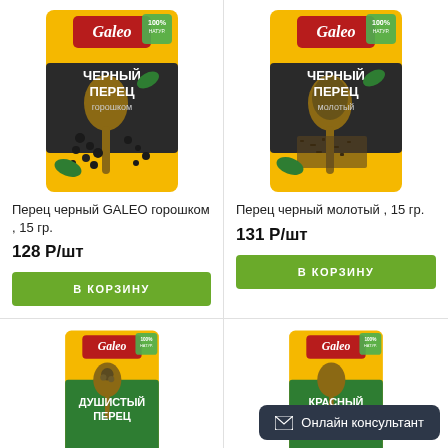[Figure (photo): Galeo black pepper whole (горошком) spice package, yellow/dark design with wooden spoon]
Перец черный GALEO горошком , 15 гр.
128 Р/шт
В КОРЗИНУ
[Figure (photo): Galeo black pepper ground (молотый) spice package, yellow/dark design with wooden spoon]
Перец черный молотый , 15 гр.
131 Р/шт
В КОРЗИНУ
[Figure (photo): Galeo allspice (душистый перец) spice package, yellow/green design]
[Figure (photo): Galeo red pepper (красный) spice package, yellow/green design]
Онлайн консультант